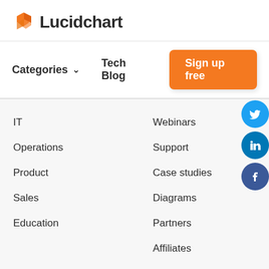[Figure (logo): Lucidchart logo with orange diamond/arrow icon and bold dark text 'Lucidchart']
Categories ∨
Tech Blog
Sign up free
IT
Webinars
Operations
Support
Product
Case studies
Sales
Diagrams
Education
Partners
Affiliates
Newsletter
Company
About us